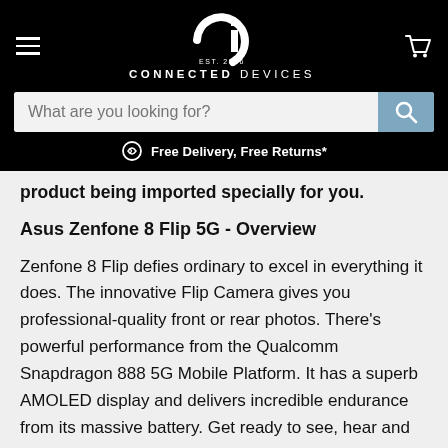[Figure (logo): Connected Devices logo: stylized 'Ci' monogram with EST. 2016 text, white on black background, with hamburger menu icon on left and cart icon on right]
CONNECTED DEVICES
What are you looking for?
Free Delivery, Free Returns*
product being imported specially for you.
Asus Zenfone 8 Flip 5G - Overview
Zenfone 8 Flip defies ordinary to excel in everything it does. The innovative Flip Camera gives you professional-quality front or rear photos. There's powerful performance from the Qualcomm Snapdragon 888 5G Mobile Platform. It has a superb AMOLED display and delivers incredible endurance from its massive battery. Get ready to see, hear and interact with the world in an